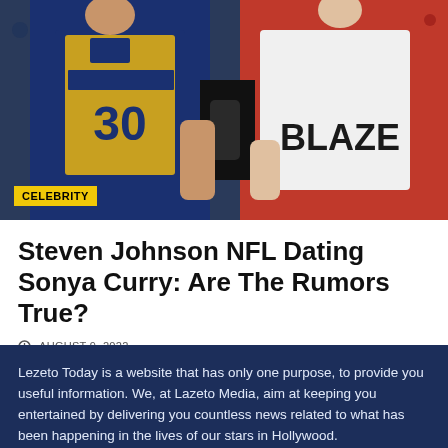[Figure (photo): Photo of people wearing Golden State Warriors and Portland Trail Blazers jerseys at an NBA game, with a CELEBRITY label badge overlaid on bottom-left]
Steven Johnson NFL Dating Sonya Curry: Are The Rumors True?
AUGUST 9, 2022
Lezeto Today is a website that has only one purpose, to provide you useful information. We, at Lazeto Media, aim at keeping you entertained by delivering you countless news related to what has been happening in the lives of our stars in Hollywood.